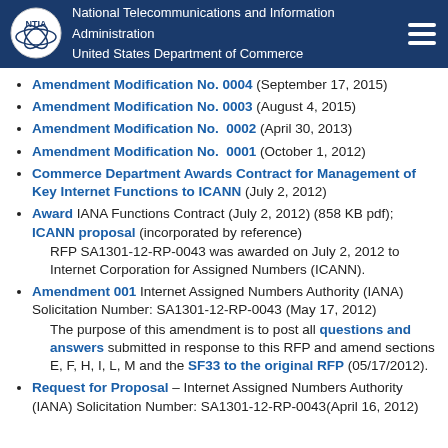National Telecommunications and Information Administration | United States Department of Commerce
Amendment Modification No. 0004 (September 17, 2015)
Amendment Modification No. 0003 (August 4, 2015)
Amendment Modification No. 0002 (April 30, 2013)
Amendment Modification No. 0001 (October 1, 2012)
Commerce Department Awards Contract for Management of Key Internet Functions to ICANN (July 2, 2012)
Award IANA Functions Contract (July 2, 2012) (858 KB pdf); ICANN proposal (incorporated by reference) RFP SA1301-12-RP-0043 was awarded on July 2, 2012 to Internet Corporation for Assigned Numbers (ICANN).
Amendment 001 Internet Assigned Numbers Authority (IANA) Solicitation Number: SA1301-12-RP-0043 (May 17, 2012) The purpose of this amendment is to post all questions and answers submitted in response to this RFP and amend sections E, F, H, I, L, M and the SF33 to the original RFP (05/17/2012).
Request for Proposal – Internet Assigned Numbers Authority (IANA) Solicitation Number: SA1301-12-RP-0043(April 16, 2012)